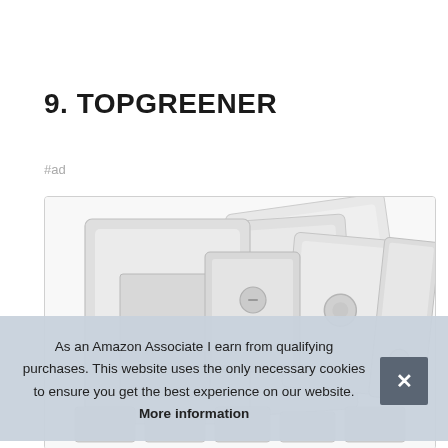9. TOPGREENER
#ad
[Figure (photo): Product photo of Topgreener light switches — multiple white rocker/decorator-style wall switches fanned/stacked on a white background.]
As an Amazon Associate I earn from qualifying purchases. This website uses the only necessary cookies to ensure you get the best experience on our website. More information